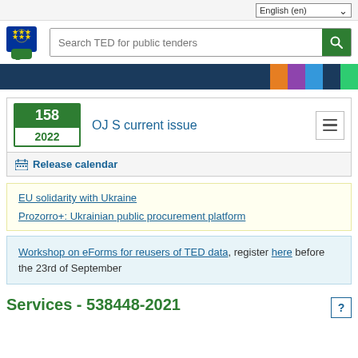English (en)
[Figure (logo): EU TED logo - blue square with EU stars circle icon and green speech bubble]
Search TED for public tenders
OJ S current issue 158 2022
Release calendar
EU solidarity with Ukraine
Prozorro+: Ukrainian public procurement platform
Workshop on eForms for reusers of TED data, register here before the 23rd of September
Services - 538448-2021